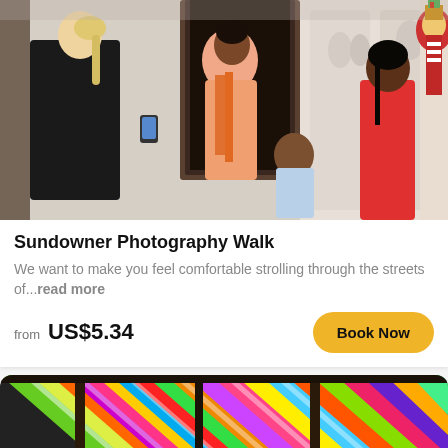[Figure (photo): People at an ornate white temple entrance. A blonde woman in black, a woman in peach with orange scarf, a boy in light blue, and a girl in red dress stand near a decorated statue.]
Sundowner Photography Walk
We want to make you feel comfortable strolling through the streets of...read more
from US$5.34
Book Now
[Figure (photo): Colorful fabric drapes and textile swatches in many vivid colors including pink, yellow, green, orange, purple, blue hanging from a market stall structure.]